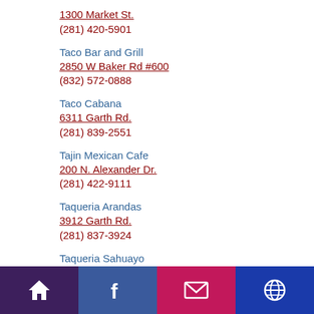1300 Market St.
(281) 420-5901
Taco Bar and Grill
2850 W Baker Rd #600
(832) 572-0888
Taco Cabana
6311 Garth Rd.
(281) 839-2551
Tajin Mexican Cafe
200 N. Alexander Dr.
(281) 422-9111
Taqueria Arandas
3912 Garth Rd.
(281) 837-3924
Taqueria Sahuayo
Home | Facebook | Email | Web